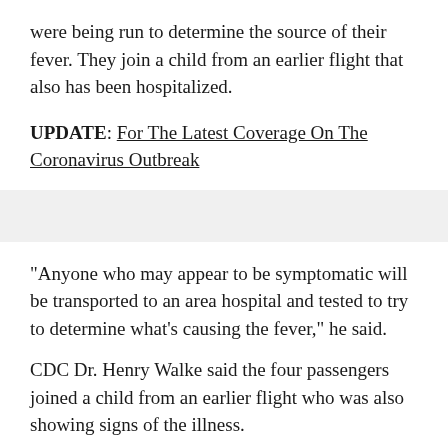were being run to determine the source of their fever. They join a child from an earlier flight that also has been hospitalized.
UPDATE: For The Latest Coverage On The Coronavirus Outbreak
"Anyone who may appear to be symptomatic will be transported to an area hospital and tested to try to determine what's causing the fever," he said.
CDC Dr. Henry Walke said the four passengers joined a child from an earlier flight who was also showing signs of the illness.